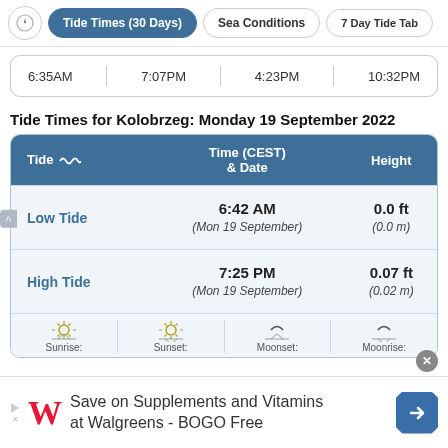Tide Times (30 Days) | Sea Conditions | 7 Day Tide Tab
| 6:35AM | 7:07PM | 4:23PM | 10:32PM |
| --- | --- | --- | --- |
Tide Times for Kolobrzeg: Monday 19 September 2022
| Tide | Time (CEST) & Date | Height |
| --- | --- | --- |
| Low Tide | 6:42 AM
(Mon 19 September) | 0.0 ft
(0.0 m) |
| High Tide | 7:25 PM
(Mon 19 September) | 0.07 ft
(0.02 m) |
[Figure (infographic): Bottom row showing Sunrise, Sunset, Moonset, Moonrise icons with labels]
Save on Supplements and Vitamins at Walgreens - BOGO Free